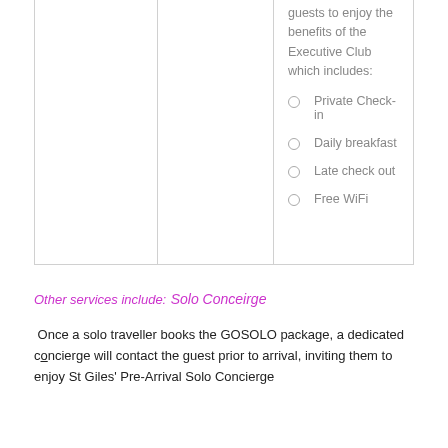|  |  | guests to enjoy the benefits of the Executive Club which includes:
• Private Check-in
• Daily breakfast
• Late check out
• Free WiFi |
Other services include:
Solo Conceirge
Once a solo traveller books the GOSOLO package, a dedicated concierge will contact the guest prior to arrival, inviting them to enjoy St Giles' Pre-Arrival Solo Concierge